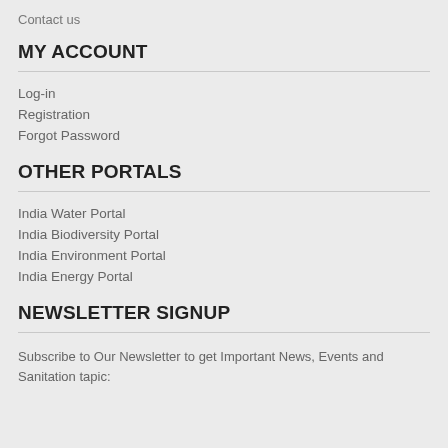Contact us
MY ACCOUNT
Log-in
Registration
Forgot Password
OTHER PORTALS
India Water Portal
India Biodiversity Portal
India Environment Portal
India Energy Portal
NEWSLETTER SIGNUP
Subscribe to Our Newsletter to get Important News, Events and Sanitation tapic: